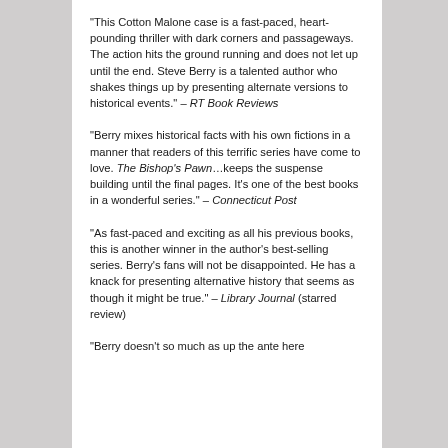“This Cotton Malone case is a fast-paced, heart-pounding thriller with dark corners and passageways. The action hits the ground running and does not let up until the end. Steve Berry is a talented author who shakes things up by presenting alternate versions to historical events.” – RT Book Reviews
“Berry mixes historical facts with his own fictions in a manner that readers of this terrific series have come to love. The Bishop’s Pawn…keeps the suspense building until the final pages. It’s one of the best books in a wonderful series.” – Connecticut Post
“As fast-paced and exciting as all his previous books, this is another winner in the author’s best-selling series. Berry’s fans will not be disappointed. He has a knack for presenting alternative history that seems as though it might be true.” – Library Journal (starred review)
“Berry doesn’t so much as up the ante here